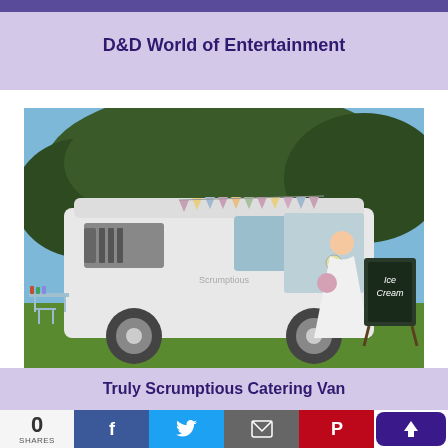D&D World of Entertainment
[Figure (photo): A bride in a white wedding gown standing in front of a white vintage VW van/campervan decorated with bunting, serving as an ice cream catering van. A chalkboard sign reads 'Ice Cream'. The van is parked on grass with trees in the background and a blue sky. Tables with supplies are visible to the left.]
Truly Scrumptious Catering Van